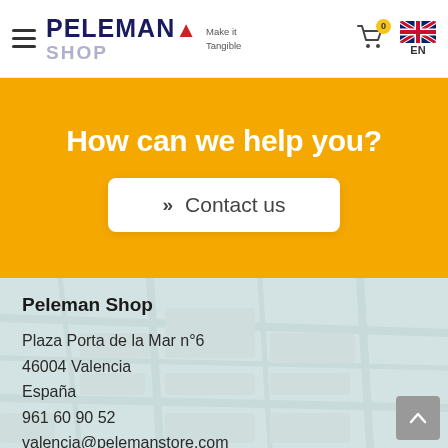Peleman Shop — Make it Tangible — EN
How can we help you?
Contact us
Peleman Shop
Plaza Porta de la Mar n°6
46004 Valencia
España
961 60 90 52
valencia@pelemanstore.com